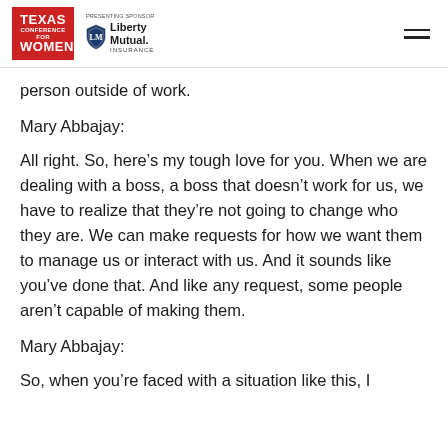Texas Conference for Women | Presenting Sponsor: Liberty Mutual Insurance
person outside of work.
Mary Abbajay:
All right. So, here’s my tough love for you. When we are dealing with a boss, a boss that doesn’t work for us, we have to realize that they’re not going to change who they are. We can make requests for how we want them to manage us or interact with us. And it sounds like you’ve done that. And like any request, some people aren’t capable of making them.
Mary Abbajay:
So, when you’re faced with a situation like this, I